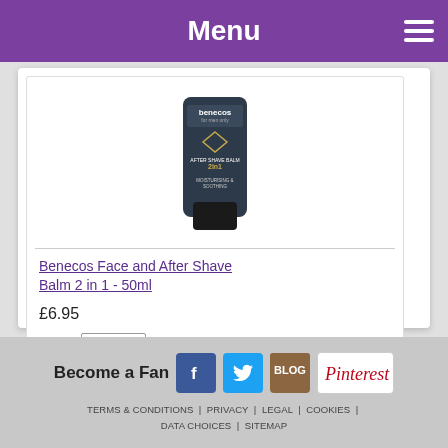Menu
[Figure (photo): Product image: Benecos for men only Face and After Shave Balm 2 in 1 tube, dark blue/grey packaging with gold diamond logo, 50ml]
Benecos Face and After Shave Balm 2 in 1 - 50ml
£6.95
QTY: 1
Buy Now ►
Become a Fan
TERMS & CONDITIONS | PRIVACY | LEGAL | COOKIES | DATA CHOICES | SITEMAP